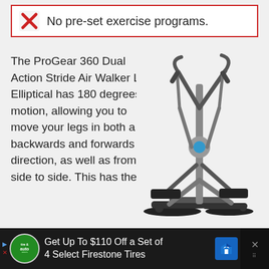No pre-set exercise programs.
The ProGear 360 Dual Action Stride Air Walker LS Elliptical has 180 degrees of motion, allowing you to move your legs in both a backwards and forwards direction, as well as from side to side. This has the
[Figure (photo): ProGear 360 Dual Action Stride Air Walker LS Elliptical machine, silver and black, shown from the side]
Get Up To $110 Off a Set of 4 Select Firestone Tires